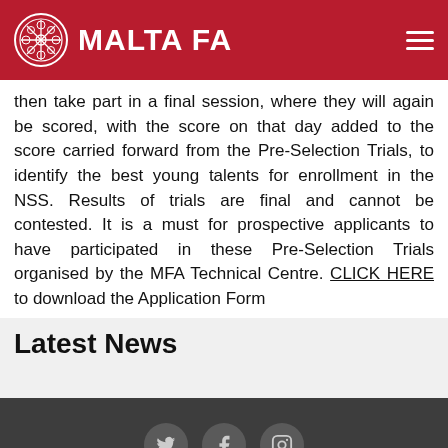MALTA FA
then take part in a final session, where they will again be scored, with the score on that day added to the score carried forward from the Pre-Selection Trials, to identify the best young talents for enrollment in the NSS. Results of trials are final and cannot be contested. It is a must for prospective applicants to have participated in these Pre-Selection Trials organised by the MFA Technical Centre. CLICK HERE to download the Application Form
Latest News
Copyright © 2022 MFA. All rights reserved.